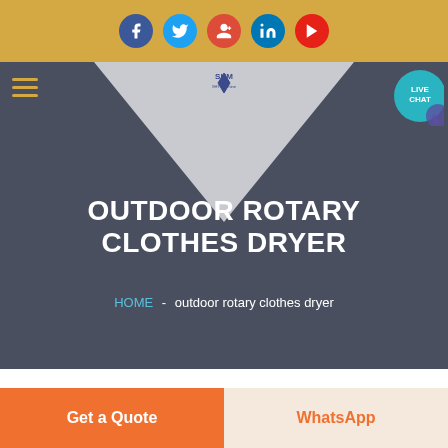Social media icons bar: Facebook, Twitter, Google+, LinkedIn, YouTube
[Figure (screenshot): Website navigation bar with hamburger menu, SHM logo in center, and LIVE CHAT bubble on right]
OUTDOOR ROTARY CLOTHES DRYER
HOME  -  outdoor rotary clothes dryer
[Figure (photo): Partial product image showing outdoor rotary clothes dryer structure interior]
Get a Quote
WhatsApp